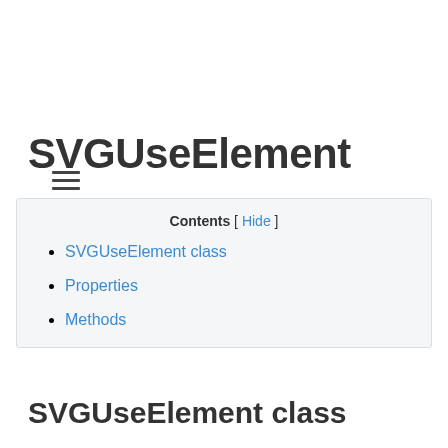[Figure (other): Hamburger menu icon (three horizontal lines)]
SVGUseElement
| Contents [ Hide ] |
| SVGUseElement class |
| Properties |
| Methods |
SVGUseElement class